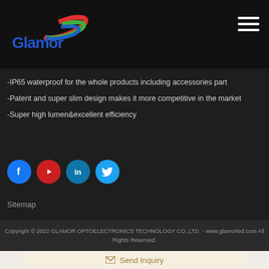[Figure (logo): Glamor logo with colorful swoosh and blue text on dark header bar]
[Figure (other): Hamburger menu icon (three white horizontal lines) in top right corner]
-IP65 waterproof for the whole products including accessories part
-Patent and super slim design makes it more competitive in the market
-Super high lumen&excellent efficiency
[Figure (other): Social media icons row: Facebook (blue), YouTube (red), LinkedIn (teal), Twitter (light blue)]
Sitemap
Copyright © 2022 GLAMOR OPTOELECTRONICS TECHNOLOGY CO.,LTD. - www.glamorled.com All Rights Reserved.
Send Inquiry